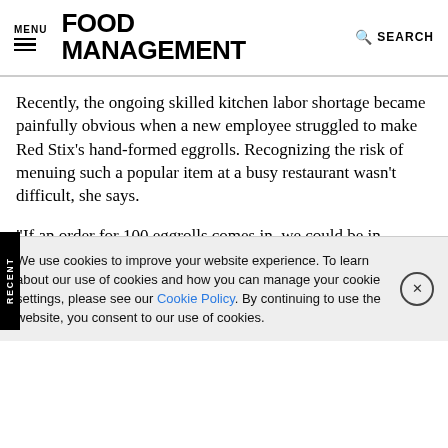MENU | FOOD MANAGEMENT | SEARCH
Recently, the ongoing skilled kitchen labor shortage became painfully obvious when a new employee struggled to make Red Stix’s hand-formed eggrolls. Recognizing the risk of menuing such a popular item at a busy restaurant wasn’t difficult, she says.
“If an order for 100 eggrolls comes in, we could be in trouble,” Immanivong says, referring to large transactions coming from student organizations at a nearby university. “But with CHEF ONE® Dumplings, that’s never a problem. We don’t make
We use cookies to improve your website experience. To learn about our use of cookies and how you can manage your cookie settings, please see our Cookie Policy. By continuing to use the website, you consent to our use of cookies.